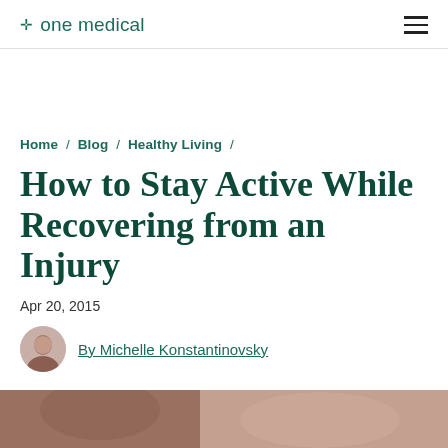one medical
Home / Blog / Healthy Living /
How to Stay Active While Recovering from an Injury
Apr 20, 2015
By Michelle Konstantinovsky
[Figure (photo): Hero image of a person, partially visible at the bottom of the page]